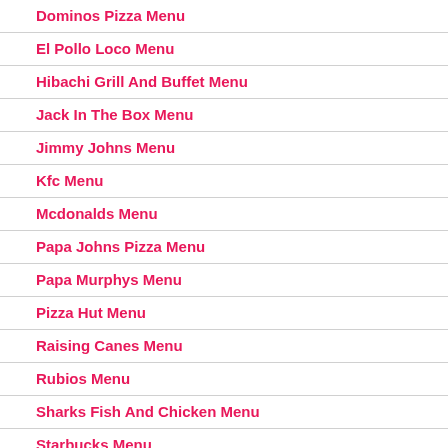Dominos Pizza Menu
El Pollo Loco Menu
Hibachi Grill And Buffet Menu
Jack In The Box Menu
Jimmy Johns Menu
Kfc Menu
Mcdonalds Menu
Papa Johns Pizza Menu
Papa Murphys Menu
Pizza Hut Menu
Raising Canes Menu
Rubios Menu
Sharks Fish And Chicken Menu
Starbucks Menu
8415 Woodsboro Pike, Walkersville, MD
(301) 845-0047